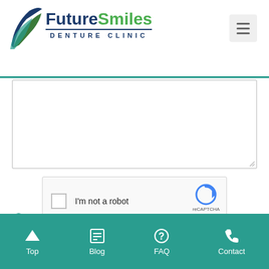[Figure (logo): Future Smiles Denture Clinic logo with stylized bird swoosh and text]
[Figure (screenshot): Text area input field for contact form message]
[Figure (screenshot): reCAPTCHA widget with checkbox and I'm not a robot text]
SUBMIT AND REQUEST CONTACT
South Calgary
Top  Blog  FAQ  Contact